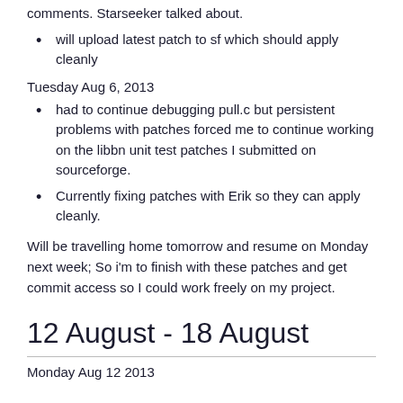comments. Starseeker talked about.
will upload latest patch to sf which should apply cleanly
Tuesday Aug 6, 2013
had to continue debugging pull.c but persistent problems with patches forced me to continue working on the libbn unit test patches I submitted on sourceforge.
Currently fixing patches with Erik so they can apply cleanly.
Will be travelling home tomorrow and resume on Monday next week; So i'm to finish with these patches and get commit access so I could work freely on my project.
12 August - 18 August
Monday Aug 12 2013